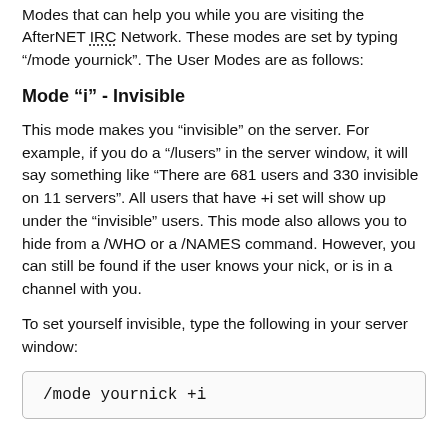Modes that can help you while you are visiting the AfterNET IRC Network. These modes are set by typing "/mode yournick". The User Modes are as follows:
Mode "i" - Invisible
This mode makes you “invisible” on the server. For example, if you do a “/lusers” in the server window, it will say something like “There are 681 users and 330 invisible on 11 servers”. All users that have +i set will show up under the “invisible” users. This mode also allows you to hide from a /WHO or a /NAMES command. However, you can still be found if the user knows your nick, or is in a channel with you.
To set yourself invisible, type the following in your server window:
/mode yournick +i